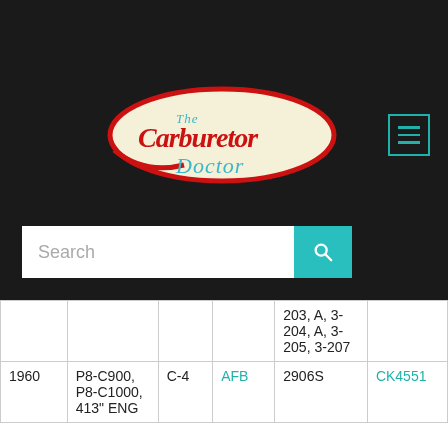[Figure (logo): The Carburetor Doctor logo — red cursive text on a cream/ivory oval with a red swoosh outline]
|  |  |  |  | 203, A, 3-204, A, 3-205, 3-207 |  |
| 1960 | P8-C900, P8-C1000, 413" ENG | C-4 | AFB | 2906S | CK4551 |